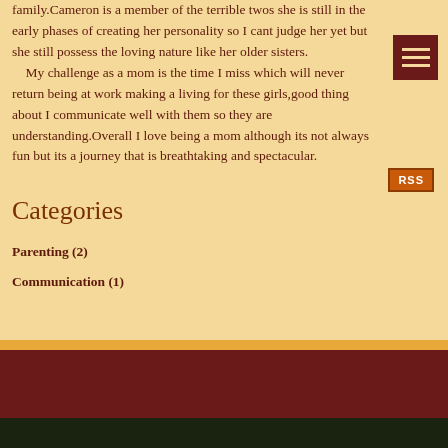family.Cameron is a member of the terrible twos she is still in the early phases of creating her personality so I cant judge her yet but she still possess the loving nature like her older sisters.
    My challenge as a mom is the time I miss which will never return being at work making a living for these girls,good thing about I communicate well with them so they are understanding.Overall I love being a mom although its not always fun but its a journey that is breathtaking and spectacular.
[Figure (other): RSS feed button with orange background and white bold text reading RSS]
Categories
Parenting (2)
Communication (1)